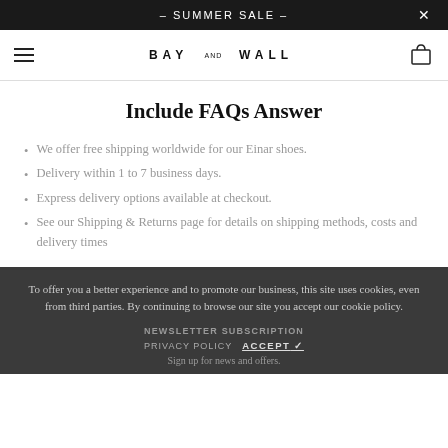– SUMMER SALE –
BAY AND WALL
Include FAQs Answer
We offer free shipping worldwide for our Einar shoes.
Delivery within 1 to 7 business days.
Express delivery options available at checkout.
See our Shipping & Returns page for details on shipping methods, costs and delivery times
To offer you a better experience and to promote our business, this site uses cookies, even from third parties. By continuing to browse our site you accept our cookie policy.
NEWSLETTER SUBSCRIPTION  PRIVACY POLICY  ACCEPT ✓  Sign up for news and offers.